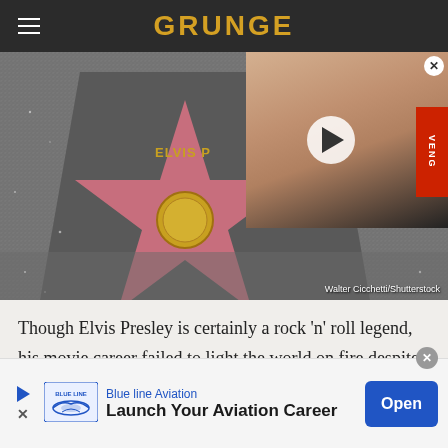GRUNGE
[Figure (photo): Elvis Presley Hollywood Walk of Fame star on the ground, pink terrazzo star with the name ELVIS P visible, granite surround. Overlaid with a video thumbnail showing a smiling man with a play button. Photo credit: Walter Cicchetti/Shutterstock]
Walter Cicchetti/Shutterstock
Though Elvis Presley is certainly a rock 'n' roll legend, his movie career failed to light the world on fire despite his global fame. A quick glance at the King's IMDb page reveals that while his cinematic endeavors are actually
[Figure (other): Advertisement banner for Blue Line Aviation: 'Launch Your Aviation Career' with Open button]